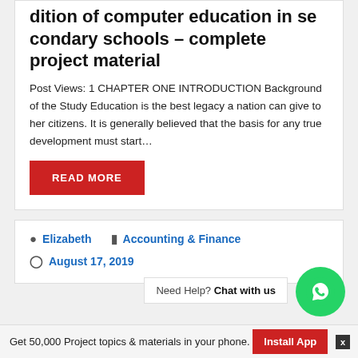dition of computer education in secondary schools – complete project material
Post Views: 1 CHAPTER ONE INTRODUCTION Background of the Study Education is the best legacy a nation can give to her citizens. It is generally believed that the basis for any true development must start…
READ MORE
Elizabeth   Accounting & Finance
August 17, 2019
Need Help? Chat with us
Get 50,000 Project topics & materials in your phone.   Install App   x